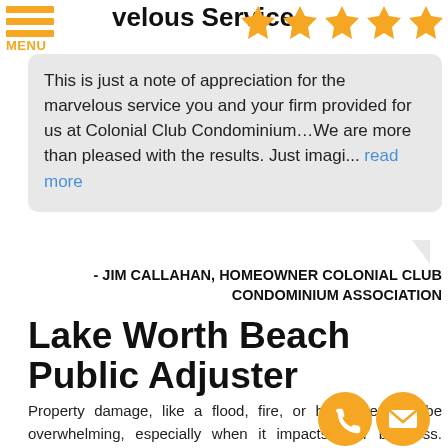velous Service
This is just a note of appreciation for the marvelous service you and your firm provided for us at Colonial Club Condominium...We are more than pleased with the results. Just imagi... read more
- JIM CALLAHAN, HOMEOWNER COLONIAL CLUB CONDOMINIUM ASSOCIATION
Lake Worth Beach Public Adjuster
Property damage, like a flood, fire, or hurricane, can be overwhelming, especially when it impacts your business. Commercial property damages and other business damages are more than an inconvenience. Immediately contacting the insurance company is a completely normal response. However, trusting the insurance company to give you the best settlements possible...